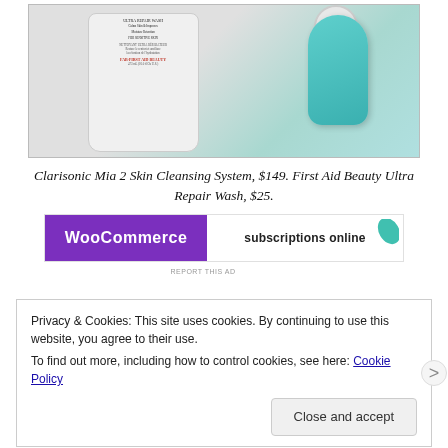[Figure (photo): Photo of a white First Aid Beauty Ultra Repair Wash bottle next to a teal/turquoise Clarisonic Mia 2 Skin Cleansing System device, on a light gray background.]
Clarisonic Mia 2 Skin Cleansing System, $149. First Aid Beauty Ultra Repair Wash, $25.
[Figure (screenshot): WooCommerce advertisement banner showing 'WooCommerce' text on purple background with 'subscriptions online' text and a teal leaf icon on white background.]
REPORT THIS AD
Privacy & Cookies: This site uses cookies. By continuing to use this website, you agree to their use. To find out more, including how to control cookies, see here: Cookie Policy
Close and accept